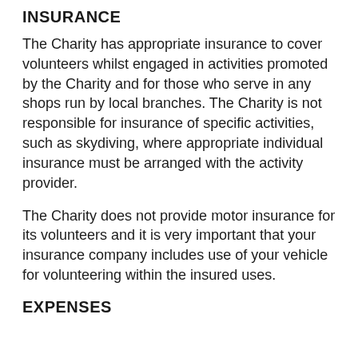INSURANCE
The Charity has appropriate insurance to cover volunteers whilst engaged in activities promoted by the Charity and for those who serve in any shops run by local branches. The Charity is not responsible for insurance of specific activities, such as skydiving, where appropriate individual insurance must be arranged with the activity provider.
The Charity does not provide motor insurance for its volunteers and it is very important that your insurance company includes use of your vehicle for volunteering within the insured uses.
EXPENSES